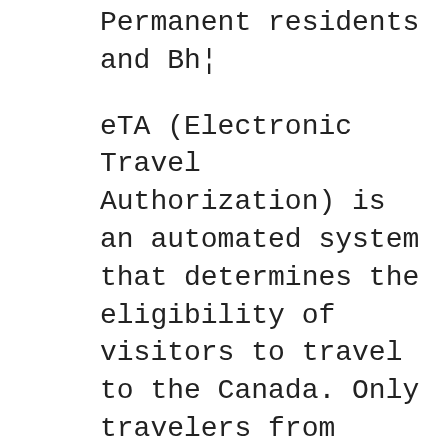Permanent residents and Bh¦
eTA (Electronic Travel Authorization) is an automated system that determines the eligibility of visitors to travel to the Canada. Only travelers from countries exempt from the having to obtain a visa and lawful permanent residents of the United States (Green Card holders) are eligible to apply. Photo: Perks of visa free travel / The Art of Travel Partners. Here is a list of countries which will let you in without a Travel Visa, regardless of your citizenship, provided that you are US Permanent Resident (i.e. Green Card Holder).
10/23/2017B B· Schengen Visa For US